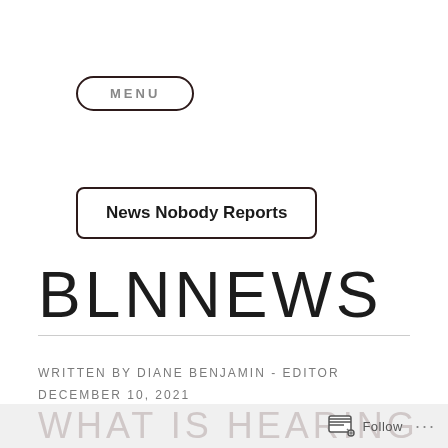[Figure (other): MENU button with rounded pill-shaped border]
[Figure (other): News Nobody Reports text in rounded rectangle border]
BLNNEWS
WRITTEN BY DIANE BENJAMIN - EDITOR
DECEMBER 10, 2021
Follow ...